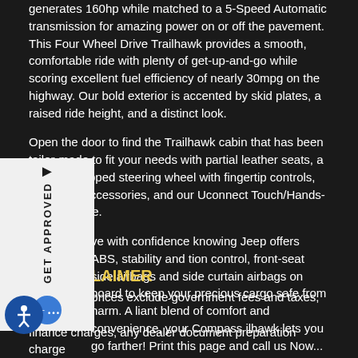generates 160hp while matched to a 5-Speed Automatic transmission for amazing power on or off the pavement. This Four Wheel Drive Trailhawk provides a smooth, comfortable ride with plenty of get-up-and-go while scoring excellent fuel efficiency of nearly 30mpg on the highway. Our bold exterior is accented by skid plates, a raised ride height, and a distinct look.
Open the door to find the Trailhawk cabin that has been tailor-made to fit your needs with partial leather seats, a leather-wrapped steering wheel with fingertip controls, full power accessories, and our Uconnect Touch/Hands-free interface.
ve with confidence knowing Jeep offers ABS, stability and tion control, front-seat side airbags and side curtain airbags on board to keep your precious cargo safe from harm. A liant blend of comfort and convenience, your Compass ilhawk lets you go farther! Print this page and call us Now... Know You Will Enjoy Your Test Drive Towards Ownership!
DISCLAIMER
Advertised prices exclude government fees and taxes, any finance charges, any dealer document preparation charge